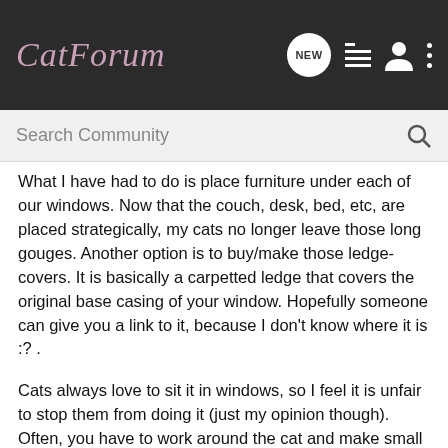CatForum
What I have had to do is place furniture under each of our windows. Now that the couch, desk, bed, etc, are placed strategically, my cats no longer leave those long gouges. Another option is to buy/make those ledge-covers. It is basically a carpetted ledge that covers the original base casing of your window. Hopefully someone can give you a link to it, because I don't know where it is :? .
Cats always love to sit it in windows, so I feel it is unfair to stop them from doing it (just my opinion though). Often, you have to work around the cat and make small sacrifices in order for everyone to be happy. Another option for you might be soft-claws because she could do less damage with them on. http://www.softclaws.com/
*edit* As for the blinds, I always kept mine open to avoid that